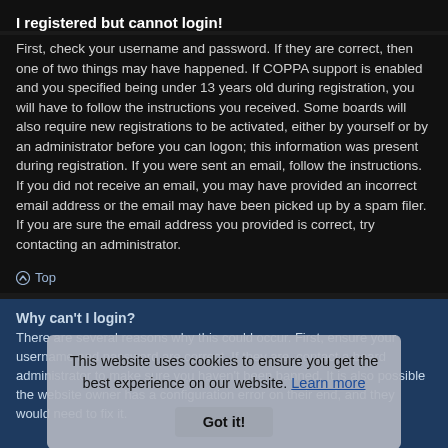I registered but cannot login!
First, check your username and password. If they are correct, then one of two things may have happened. If COPPA support is enabled and you specified being under 13 years old during registration, you will have to follow the instructions you received. Some boards will also require new registrations to be activated, either by yourself or by an administrator before you can logon; this information was present during registration. If you were sent an email, follow the instructions. If you did not receive an email, you may have provided an incorrect email address or the email may have been picked up by a spam filer. If you are sure the email address you provided is correct, try contacting an administrator.
Top
Why can't I login?
There are several reasons why this could occur. First, ensure your username and password are correct. If they are, contact a board administrator to make sure you haven't been banned. It is also possible the website owner has a configuration error on their end, and they would need to fix it.
This website uses cookies to ensure you get the best experience on our website. Learn more
Got it!
Top